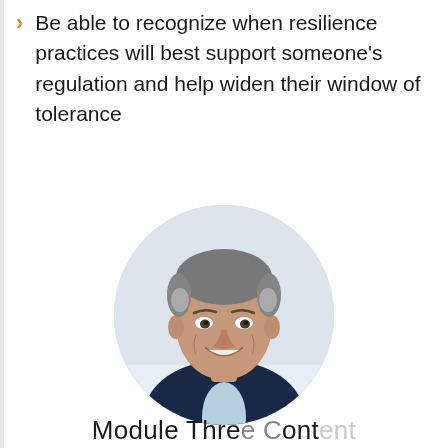Be able to recognize when resilience practices will best support someone's regulation and help widen their window of tolerance
[Figure (photo): Circular portrait photo of a smiling middle-aged man with grey-brown hair, wearing a dark navy blazer and light blue shirt]
Module Three Content